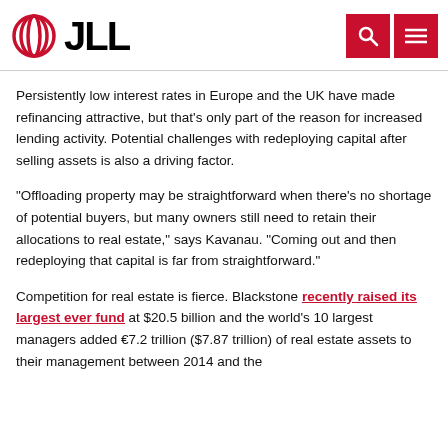JLL
Persistently low interest rates in Europe and the UK have made refinancing attractive, but that’s only part of the reason for increased lending activity. Potential challenges with redeploying capital after selling assets is also a driving factor.
“Offloading property may be straightforward when there’s no shortage of potential buyers, but many owners still need to retain their allocations to real estate,” says Kavanau. “Coming out and then redeploying that capital is far from straightforward.”
Competition for real estate is fierce. Blackstone recently raised its largest ever fund at $20.5 billion and the world’s 10 largest managers added €7.2 trillion ($7.87 trillion) of real estate assets to their management between 2014 and the